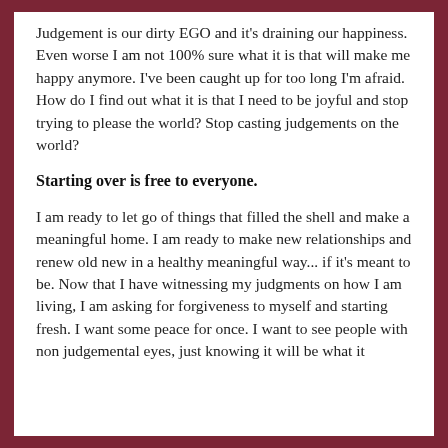Judgement is our dirty EGO and it's draining our happiness. Even worse I am not 100% sure what it is that will make me happy anymore. I've been caught up for too long I'm afraid. How do I find out what it is that I need to be joyful and stop trying to please the world? Stop casting judgements on the world?
Starting over is free to everyone.
I am ready to let go of things that filled the shell and make a meaningful home. I am ready to make new relationships and renew old new in a healthy meaningful way... if it's meant to be. Now that I have witnessing my judgments on how I am living, I am asking for forgiveness to myself and starting fresh. I want some peace for once. I want to see people with non judgemental eyes, just knowing it will be what it